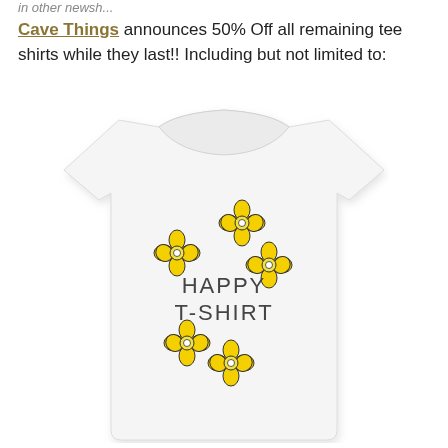in other newsh...
Cave Things announces 50% Off all remaining tee shirts while they last!! Including but not limited to:
[Figure (photo): White t-shirt with yellow daisy flowers and text reading 'HAPPY T-SHIRT' printed on the front]